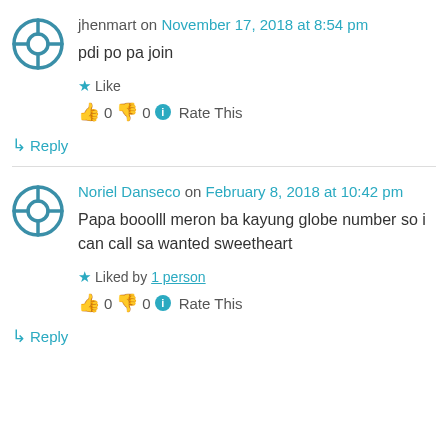jhenmart on November 17, 2018 at 8:54 pm
pdi po pa join
★ Like
👍 0 👎 0 ℹ Rate This
↳ Reply
Noriel Danseco on February 8, 2018 at 10:42 pm
Papa booolll meron ba kayung globe number so i can call sa wanted sweetheart
★ Liked by 1 person
👍 0 👎 0 ℹ Rate This
↳ Reply